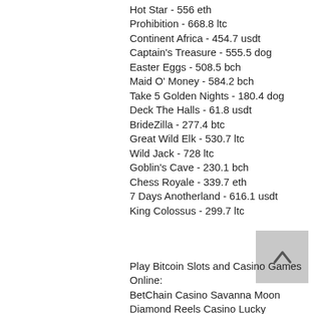Hot Star - 556 eth
Prohibition - 668.8 ltc
Continent Africa - 454.7 usdt
Captain's Treasure - 555.5 dog
Easter Eggs - 508.5 bch
Maid O' Money - 584.2 bch
Take 5 Golden Nights - 180.4 dog
Deck The Halls - 61.8 usdt
BrideZilla - 277.4 btc
Great Wild Elk - 530.7 ltc
Wild Jack - 728 ltc
Goblin's Cave - 230.1 bch
Chess Royale - 339.7 eth
7 Days Anotherland - 616.1 usdt
King Colossus - 299.7 ltc
[Figure (other): Back to top button with upward chevron arrow on grey background]
Play Bitcoin Slots and Casino Games Online:
BetChain Casino Savanna Moon
Diamond Reels Casino Lucky Diamonds
Diamond Reels Casino Jacknotz